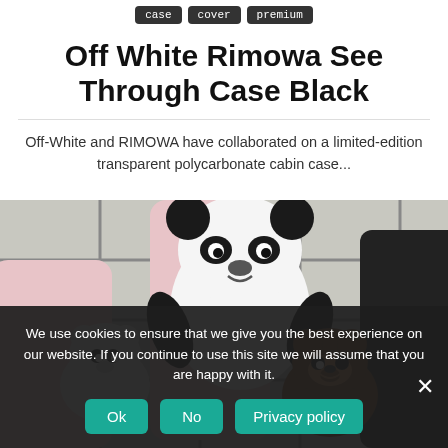case | cover | premium
Off White Rimowa See Through Case Black
Off-White and RIMOWA have collaborated on a limited-edition transparent polycarbonate cabin case...
[Figure (photo): Photo of cute cartoon animal phone cases (panda and bear characters) propped against a pink phone on a black and white grid background]
We use cookies to ensure that we give you the best experience on our website. If you continue to use this site we will assume that you are happy with it.